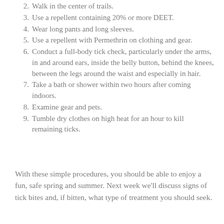2. Walk in the center of trails.
3. Use a repellent containing 20% or more DEET.
4. Wear long pants and long sleeves.
5. Use a repellent with Permethrin on clothing and gear.
6. Conduct a full-body tick check, particularly under the arms, in and around ears, inside the belly button, behind the knees, between the legs around the waist and especially in hair.
7. Take a bath or shower within two hours after coming indoors.
8. Examine gear and pets.
9. Tumble dry clothes on high heat for an hour to kill remaining ticks.
With these simple procedures, you should be able to enjoy a fun, safe spring and summer. Next week we’ll discuss signs of tick bites and, if bitten, what type of treatment you should seek.